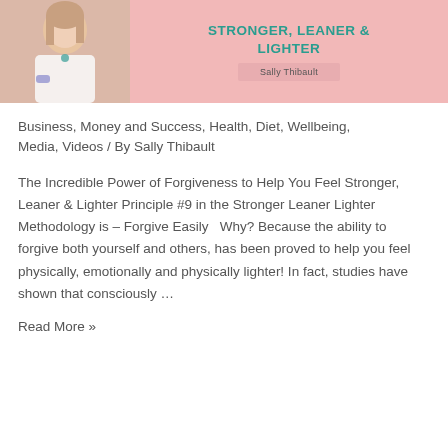[Figure (photo): Book cover image showing a woman wearing jewelry on the left side, and on the right a teal/green title 'STRONGER, LEANER & LIGHTER' with author name 'Sally Thibault' on a pink background]
Business, Money and Success, Health, Diet, Wellbeing, Media, Videos / By Sally Thibault
The Incredible Power of Forgiveness to Help You Feel Stronger, Leaner & Lighter Principle #9 in the Stronger Leaner Lighter Methodology is – Forgive Easily   Why? Because the ability to forgive both yourself and others, has been proved to help you feel physically, emotionally and physically lighter! In fact, studies have shown that consciously …
Read More »